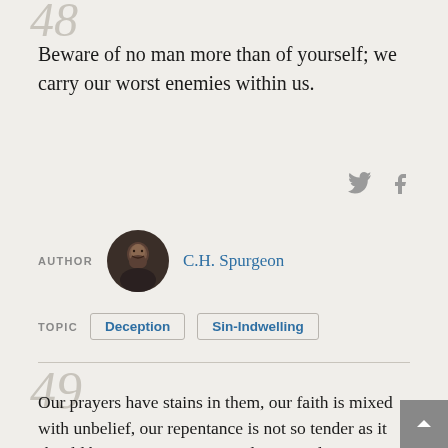48
Beware of no man more than of yourself; we carry our worst enemies within us.
AUTHOR   C.H. Spurgeon
TOPIC   Deception   Sin-Indwelling
49
Our prayers have stains in them, our faith is mixed with unbelief, our repentance is not so tender as it should be, our communion is distant and interrupted.  We cannot pray without sinning, and there is filth even in our tears.